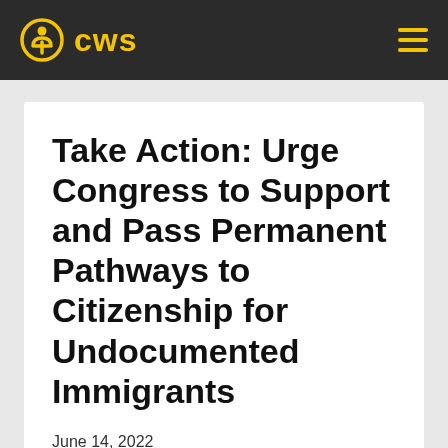CWS
Take Action: Urge Congress to Support and Pass Permanent Pathways to Citizenship for Undocumented Immigrants
June 14, 2022
June 15th, 2022, marks 10 years since immigrant youth won Deferred Action for Childhood Arrivals